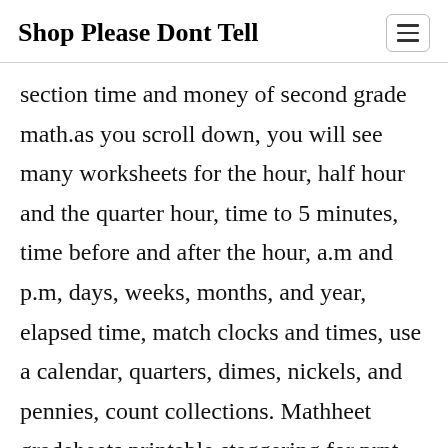Shop Please Dont Tell
section time and money of second grade math.as you scroll down, you will see many worksheets for the hour, half hour and the quarter hour, time to 5 minutes, time before and after the hour, a.m and p.m, days, weeks, months, and year, elapsed time, match clocks and times, use a calendar, quarters, dimes, nickels, and pennies, count collections. Mathheet gradeheets printable staggering for prnt, staggering grade 2 math worksheets printable, count of some icons